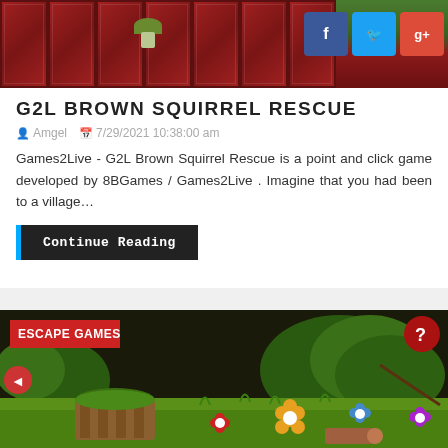[Figure (screenshot): Game banner showing a point-and-click game UI with red tile panels, green grass top border, a mushroom character, and social media buttons (Facebook, Twitter, Google+) in top right corner]
G2L BROWN SQUIRREL RESCUE
Amgel  7/29/2021 10:38:00 am
Games2Live - G2L Brown Squirrel Rescue is a point and click game developed by 8BGames / Games2Live . Imagine that you had been to a village…
Continue Reading
[Figure (screenshot): Escape game scene showing a forest/garden environment with a barrel pot with green top, colorful flowers (red, yellow, white, blue, purple), green grass ground, trees in background, with ESCAPE GAMES label in top left and question mark button in top right]